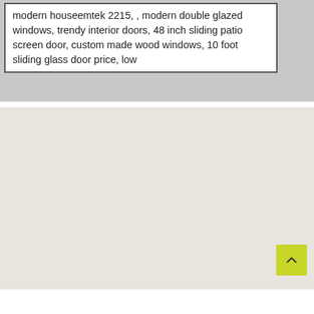modern houseemtek 2215, , modern double glazed windows, trendy interior doors, 48 inch sliding patio screen door, custom made wood windows, 10 foot sliding glass door price, low
[Figure (map): A light gray map area (empty/blank map view) with a yellow-green scroll-to-top button in the bottom right corner containing an upward chevron arrow.]